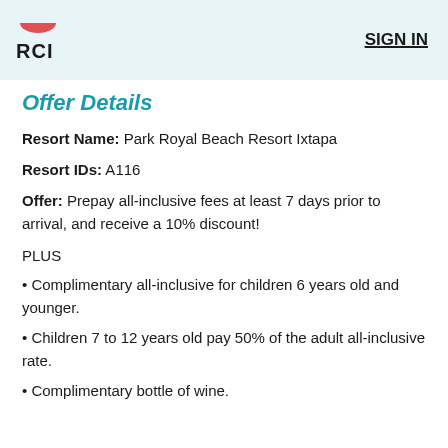RCI   SIGN IN
Offer Details
Resort Name: Park Royal Beach Resort Ixtapa
Resort IDs: A116
Offer: Prepay all-inclusive fees at least 7 days prior to arrival, and receive a 10% discount!
PLUS
• Complimentary all-inclusive for children 6 years old and younger.
• Children 7 to 12 years old pay 50% of the adult all-inclusive rate.
• Complimentary bottle of wine.